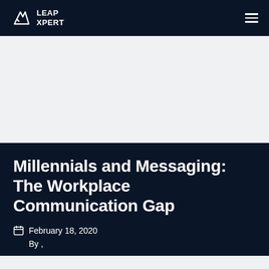LEAP XPERT
[Figure (other): Gray banner area below navigation bar]
Millennials and Messaging: The Workplace Communication Gap
February 18, 2020
By ,